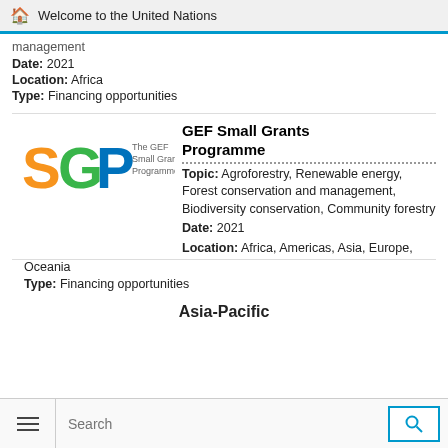Welcome to the United Nations
management
Date: 2021
Location: Africa
Type: Financing opportunities
[Figure (logo): SGP - The GEF Small Grants Programme logo with orange S, green G, blue P letters]
GEF Small Grants Programme
Topic: Agroforestry, Renewable energy, Forest conservation and management, Biodiversity conservation, Community forestry
Date: 2021
Location: Africa, Americas, Asia, Europe, Oceania
Type: Financing opportunities
Asia-Pacific